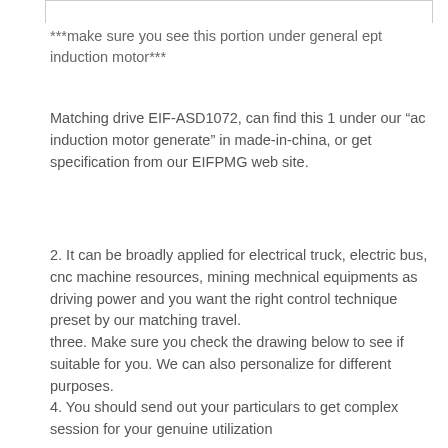***make sure you see this portion under general ept induction motor***
Matching drive EIF-ASD1072, can find this 1 under our “ac induction motor generate” in made-in-china, or get specification from our EIFPMG web site.
2. It can be broadly applied for electrical truck, electric bus, cnc machine resources, mining mechnical equipments as driving power and you want the right control technique preset by our matching travel.
three. Make sure you check the drawing below to see if suitable for you. We can also personalize for different purposes.
4. You should send out your particulars to get complex session for your genuine utilization